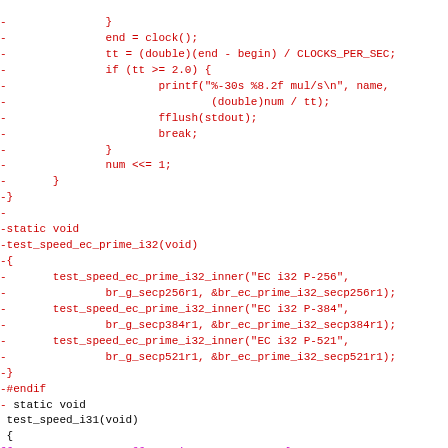Code diff showing removal of test_speed_ec_prime_i32 function and surrounding code, plus a hunk header for static const struct changes.